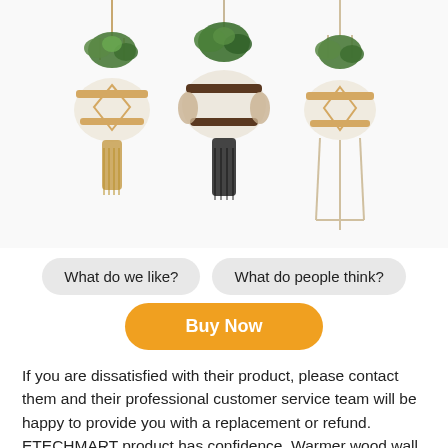[Figure (photo): Three macrame hanging plant holders with succulents, showing different rope/cord styles — tan/gold, dark brown/black tassel, and natural cream/beige]
What do we like?
What do people think?
Buy Now
If you are dissatisfied with their product, please contact them and their professional customer service team will be happy to provide you with a replacement or refund. ETECHMART product has confidence. Warmer wood wall hooks are made of 100% natural beech wood, healthy and environmentally friendly, carefully crafted by hand, durable, with unique natural wood texture,